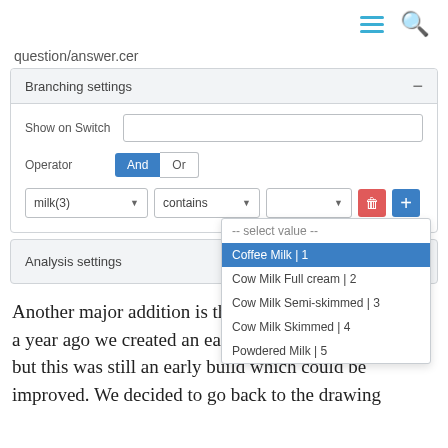[Figure (screenshot): Navigation bar with hamburger menu and search icon]
question/answer.cer
[Figure (screenshot): Branching settings panel with Show on Switch input, Operator And/Or toggle, and milk(3)/contains/value dropdowns with a dropdown showing: -- select value --, Coffee Milk|1 (selected/highlighted), Cow Milk Full cream|2, Cow Milk Semi-skimmed|3, Cow Milk Skimmed|4, Powdered Milk|5. Delete and add buttons on right.]
[Figure (screenshot): Analysis settings panel collapsed with plus button]
Another major addition is the new wheel editor. About a year ago we created an early version of this editor, but this was still an early build which could be improved. We decided to go back to the drawing